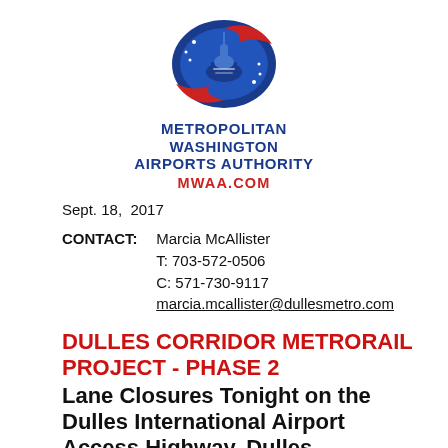[Figure (logo): Metropolitan Washington Airports Authority logo — blue oval with capitol dome and red swoosh, with text METROPOLITAN WASHINGTON AIRPORTS AUTHORITY and MWAA.COM]
Sept. 18,  2017
CONTACT:    Marcia McAllister
    T: 703-572-0506
    C: 571-730-9117
    marcia.mcallister@dullesmetro.com
DULLES CORRIDOR METRORAIL PROJECT - PHASE 2
Lane Closures Tonight on the Dulles International Airport Access Highway, Dulles Greenway and Airport Roads -